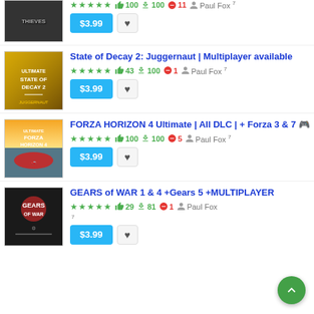[Figure (screenshot): Partial game listing at top (cropped) with dark game cover image]
★★★★★ 👍 100 ⬇ 100 🚫 11 👤 Paul Fox 7
$3.99 [price button] [heart button]
[Figure (screenshot): State of Decay 2: Juggernaut game cover - gold/yellow tones with figures]
State of Decay 2: Juggernaut | Multiplayer available
★★★★★ 👍 43 ⬇ 100 🚫 1 👤 Paul Fox 7
$3.99 [price button] [heart button]
[Figure (screenshot): Forza Horizon 4 Ultimate game cover - yellow/blue tones with car]
FORZA HORIZON 4 Ultimate | All DLC | + Forza 3 & 7 🎮
★★★★★ 👍 100 ⬇ 100 🚫 5 👤 Paul Fox 7
$3.99 [price button] [heart button]
[Figure (screenshot): Gears of War game cover - dark tones with armored character]
GEARS of WAR 1 & 4 +Gears 5 +MULTIPLAYER
★★★★★ 👍 29 ⬇ 81 🚫 1 👤 Paul Fox 7